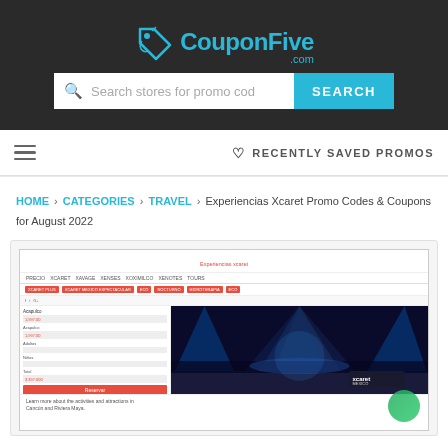CouponFive.com
Search stores for promo cod SEARCH
≡  ♡ RECENTLY SAVED PROMOS
HOME › CATEGORIES › TRAVEL › Experiencias Xcaret Promo Codes & Coupons for August 2022
[Figure (screenshot): Screenshot of Experiencias Xcaret website showing booking form and performance stage image]